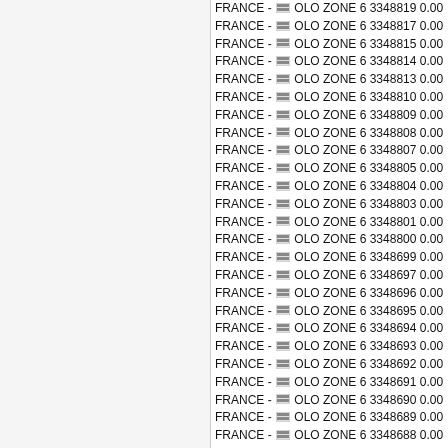FRANCE - OLO ZONE 6 3348819 0.00
FRANCE - OLO ZONE 6 3348817 0.00
FRANCE - OLO ZONE 6 3348815 0.00
FRANCE - OLO ZONE 6 3348814 0.00
FRANCE - OLO ZONE 6 3348813 0.00
FRANCE - OLO ZONE 6 3348810 0.00
FRANCE - OLO ZONE 6 3348809 0.00
FRANCE - OLO ZONE 6 3348808 0.00
FRANCE - OLO ZONE 6 3348807 0.00
FRANCE - OLO ZONE 6 3348805 0.00
FRANCE - OLO ZONE 6 3348804 0.00
FRANCE - OLO ZONE 6 3348803 0.00
FRANCE - OLO ZONE 6 3348801 0.00
FRANCE - OLO ZONE 6 3348800 0.00
FRANCE - OLO ZONE 6 3348699 0.00
FRANCE - OLO ZONE 6 3348697 0.00
FRANCE - OLO ZONE 6 3348696 0.00
FRANCE - OLO ZONE 6 3348695 0.00
FRANCE - OLO ZONE 6 3348694 0.00
FRANCE - OLO ZONE 6 3348693 0.00
FRANCE - OLO ZONE 6 3348692 0.00
FRANCE - OLO ZONE 6 3348691 0.00
FRANCE - OLO ZONE 6 3348690 0.00
FRANCE - OLO ZONE 6 3348689 0.00
FRANCE - OLO ZONE 6 3348688 0.00